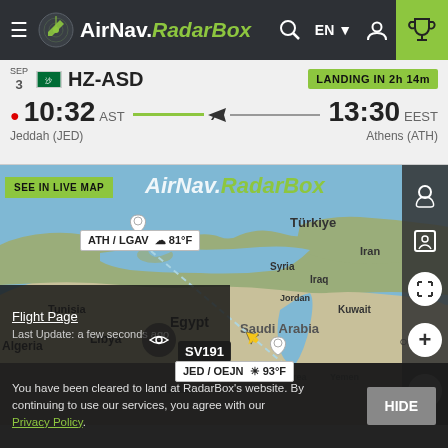AirNav RadarBox — navigation bar with logo, search, language selector EN, user icon, trophy icon
SEP 3  HZ-ASD  LANDING IN 2h 14m
10:32 AST  Jeddah (JED)  →  13:30 EEST  Athens (ATH)
[Figure (map): Interactive map showing flight route SV191 from Jeddah (JED/OEJN) to Athens (ATH/LGAV) over the Middle East and Mediterranean region. Dashed flight path line shown. Aircraft icon near Saudi Arabia. ATH/LGAV tooltip shows 81°F, JED/OEJN tooltip shows 93°F. 'SEE IN LIVE MAP' button and AirNav RadarBox watermark visible.]
Flight Page
Last Update: a few seconds ago
You have been cleared to land at RadarBox's website. By continuing to use our services, you agree with our Privacy Policy.